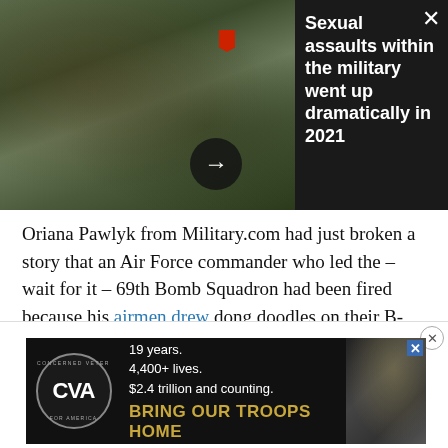[Figure (photo): Military soldiers/Marines in camouflage uniforms gathered together outdoors]
Sexual assaults within the military went up dramatically in 2021
Oriana Pawlyk from Military.com had just broken a story that an Air Force commander who led the – wait for it – 69th Bomb Squadron had been fired because his airmen drew dong doodles on their B-52s' mapping software. An Air Force official confirmed to Task & Purpose the story was accurate.
[Figure (infographic): Advertisement: Concerned Veterans for America (CVA) - '19 years. 4,400+ lives. $2.4 trillion and counting. BRING OUR TROOPS HOME']